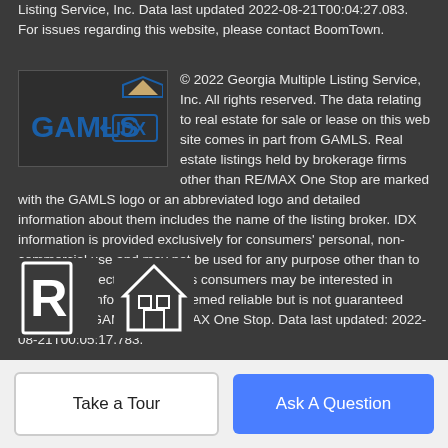Listing Service, Inc. Data last updated 2022-08-21T00:04:27.083. For issues regarding this website, please contact BoomTown.
© 2022 Georgia Multiple Listing Service, Inc. All rights reserved. The data relating to real estate for sale or lease on this web site comes in part from GAMLS. Real estate listings held by brokerage firms other than RE/MAX One Stop are marked with the GAMLS logo or an abbreviated logo and detailed information about them includes the name of the listing broker. IDX information is provided exclusively for consumers' personal, non-commercial use and may not be used for any purpose other than to identify prospective properties consumers may be interested in purchasing. Information is deemed reliable but is not guaranteed accurate by GAMLS or RE/MAX One Stop. Data last updated: 2022-08-21T00:05:17.783.
[Figure (logo): GAMLS IDX logo]
[Figure (logo): Realtor and Equal Housing Opportunity logos]
Take a Tour
Ask A Question